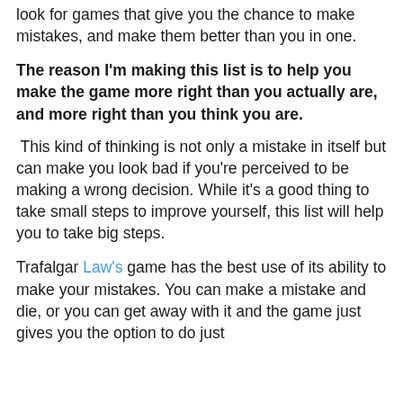look for games that give you the chance to make mistakes, and make them better than you in one.
The reason I'm making this list is to help you make the game more right than you actually are, and more right than you think you are.
This kind of thinking is not only a mistake in itself but can make you look bad if you're perceived to be making a wrong decision. While it's a good thing to take small steps to improve yourself, this list will help you to take big steps.
Trafalgar Law's game has the best use of its ability to make your mistakes. You can make a mistake and die, or you can get away with it and the game just gives you the option to do just